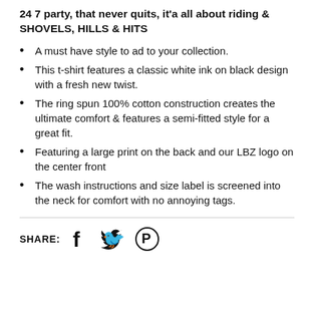24 7 party, that never quits, it'a all about riding & SHOVELS, HILLS & HITS
A must have style to ad to your collection.
This t-shirt features a classic white ink on black design with a fresh new twist.
The ring spun 100% cotton construction creates the ultimate comfort & features a semi-fitted style for a great fit.
Featuring a large print on the back and our LBZ logo on the center front
The wash instructions and size label is screened into the neck for comfort with no annoying tags.
SHARE: [Facebook] [Twitter] [Pinterest]